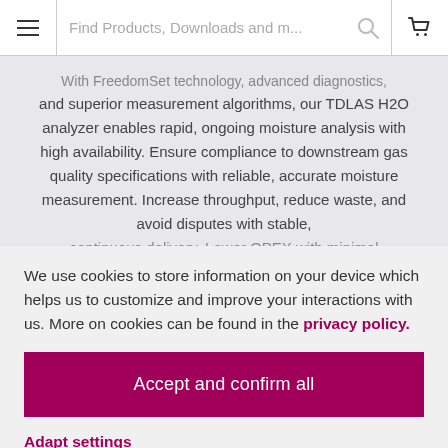Find Products, Downloads and m...
and superior measurement algorithms, our TDLAS H2O analyzer enables rapid, ongoing moisture analysis with high availability. Ensure compliance to downstream gas quality specifications with reliable, accurate moisture measurement. Increase throughput, reduce waste, and avoid disputes with stable, continuous delivery. Lower OPEX with minimal
We use cookies to store information on your device which helps us to customize and improve your interactions with us. More on cookies can be found in the privacy policy.
Accept and confirm all
Adapt settings